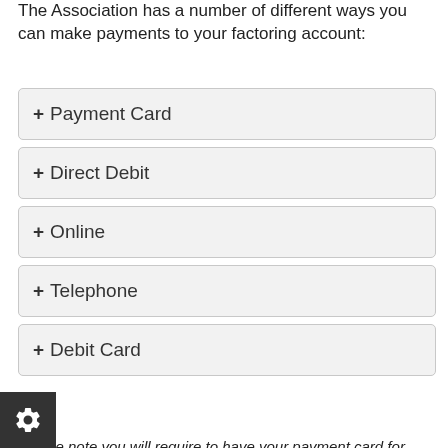The Association has a number of different ways you can make payments to your factoring account:
+ Payment Card
+ Direct Debit
+ Online
+ Telephone
+ Debit Card
Please note you will require to have your payment card for internet or telephone payment and the 19 digit pan number shown on the front of the card. Please contact the Association if you require a replacement card.
[Figure (other): Settings gear icon button in dark square]